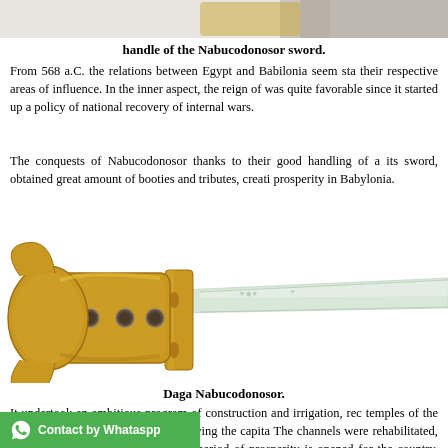[Figure (photo): Top portion of the Nabucodonosor sword handle image, partially visible at the top of the page]
handle of the Nabucodonosor sword.
From 568 a.C. the relations between Egypt and Babilonia seem sta- their respective areas of influence. In the inner aspect, the reign of was quite favorable since it started up a policy of national recovery of internal wars.
The conquests of Nabucodonosor thanks to their good handling of a its sword, obtained great amount of booties and tributes, creati- prosperity in Babylonia.
[Figure (photo): Photo of the Daga Nabucodonosor — an ornate sword/dagger with a gold decorative handle featuring animal/dragon motifs with gemstone inlays, and a long white/silver blade extending to the right]
Daga Nabucodonosor.
It undertook an ambitious program of construction and irrigation, rec- temples of the important religious centers and renewing the capita- The channels were rehabilitated, restored agriculture and the reconst- period of prosperity is opened for the country, sprinkled of shak- oradic ones.